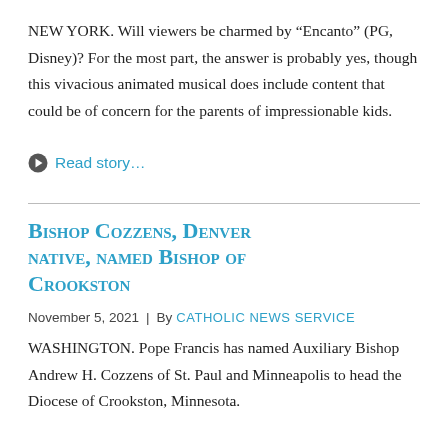NEW YORK. Will viewers be charmed by “Encanto” (PG, Disney)? For the most part, the answer is probably yes, though this vivacious animated musical does include content that could be of concern for the parents of impressionable kids.
➡ Read story…
Bishop Cozzens, Denver native, named Bishop of Crookston
November 5, 2021 | By CATHOLIC NEWS SERVICE
WASHINGTON. Pope Francis has named Auxiliary Bishop Andrew H. Cozzens of St. Paul and Minneapolis to head the Diocese of Crookston, Minnesota.